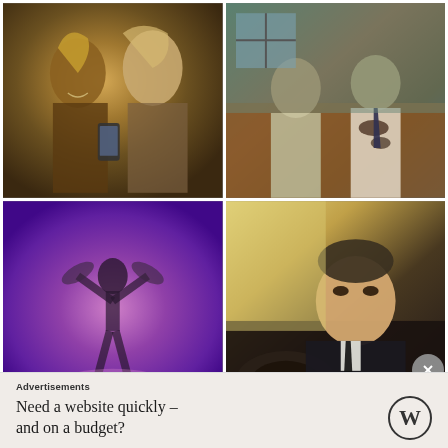[Figure (photo): Two women looking at a smartphone, one with braided hair and jewelry, warm outdoor tones]
[Figure (photo): Horror movie scene: woman and disheveled man with stained shirt sitting on couch]
[Figure (photo): Purple-toned image of a dancer or figure silhouetted against purple background]
[Figure (photo): Close-up of man in suit driving a car, James Bond style, warm desert tones]
Advertisements
Need a website quickly – and on a budget?